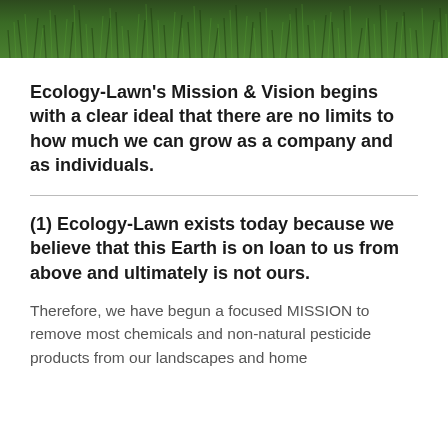[Figure (photo): Close-up photo of green grass at the top of the page, serving as a header image]
Ecology-Lawn’s Mission & Vision begins with a clear ideal that there are no limits to how much we can grow as a company and as individuals.
(1) Ecology-Lawn exists today because we believe that this Earth is on loan to us from above and ultimately is not ours.
Therefore, we have begun a focused MISSION to remove most chemicals and non-natural pesticide products from our landscapes and home